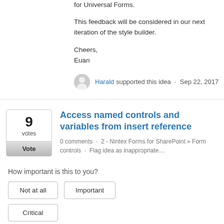for Universal Forms.
This feedback will be considered in our next iteration of the style builder.
Cheers,
Euan
Harald supported this idea · Sep 22, 2017
Access named controls and variables from insert reference
0 comments · 2 - Nintex Forms for SharePoint » Form controls · Flag idea as inappropriate…
How important is this to you?
Not at all
Important
Critical